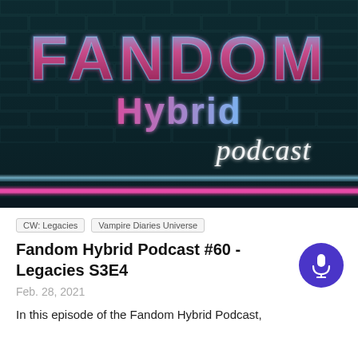[Figure (illustration): Fandom Hybrid Podcast banner with retro-style text on dark teal brick wall background. Large bold letters spell FANDOM, below that Hybrid in gradient pink/blue, and 'podcast' in white cursive script. Neon pink and blue horizontal light streaks at the bottom.]
CW: Legacies
Vampire Diaries Universe
Fandom Hybrid Podcast #60 - Legacies S3E4
Feb. 28, 2021
In this episode of the Fandom Hybrid Podcast,